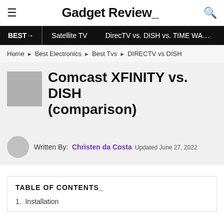Gadget Review_
BEST → | Satellite TV | DirecTV vs. DISH vs. TIME WA…
Home ▶ Best Electronics ▶ Best Tvs ▶ DIRECTV vs DISH
Comcast XFINITY vs. DISH (comparison)
Written By:  Christen da Costa  Updated June 27, 2022
TABLE OF CONTENTS_
1.  Installation